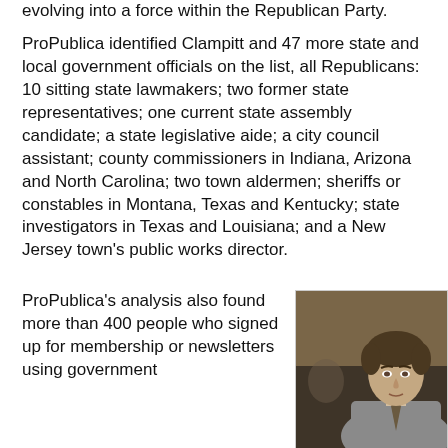evolving into a force within the Republican Party.
ProPublica identified Clampitt and 47 more state and local government officials on the list, all Republicans: 10 sitting state lawmakers; two former state representatives; one current state assembly candidate; a state legislative aide; a city council assistant; county commissioners in Indiana, Arizona and North Carolina; two town aldermen; sheriffs or constables in Montana, Texas and Kentucky; state investigators in Texas and Louisiana; and a New Jersey town's public works director.
ProPublica's analysis also found more than 400 people who signed up for membership or newsletters using government
[Figure (photo): A man in a suit and tie looking upward, photographed in what appears to be a legislative chamber or formal setting, with other people blurred in the background.]